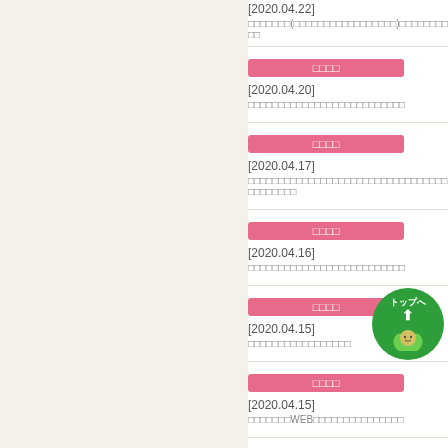[2020.04.22]
□□□□□□□(□□□□□□□□□□□□□□□□□)□□□□□□□□□□
□□□□
[2020.04.20]
□□□□□□□□□□□□□□□□□□□□□□□□□□
□□□□
[2020.04.17]
□□□□□□□□□□□□□□□□□□□□□□□□□□□□□□□□□□□□□□□□□
□□□□
[2020.04.16]
□□□□□□□□□□□□□□□□□□□□□□□□□□
□□□□
[2020.04.15]
□□□□□□□□□□□□□□□□□
□□□□
[2020.04.15]
□□□□□□□WEB□□□□□□□□□□□□□□□